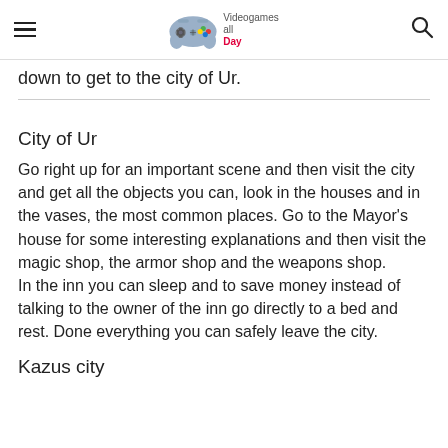Videogames all Day
down to get to the city of Ur.
City of Ur
Go right up for an important scene and then visit the city and get all the objects you can, look in the houses and in the vases, the most common places. Go to the Mayor's house for some interesting explanations and then visit the magic shop, the armor shop and the weapons shop.
In the inn you can sleep and to save money instead of talking to the owner of the inn go directly to a bed and rest. Done everything you can safely leave the city.
Kazus city